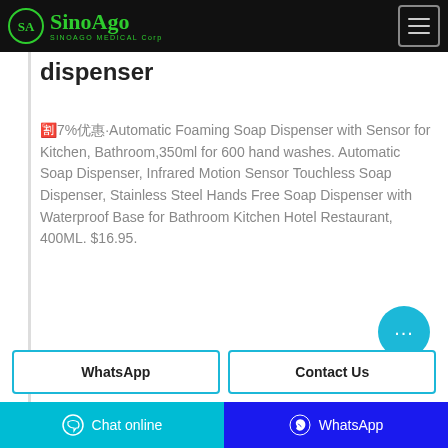SINOAGO MEDICAL Corp
dispenser
🈹7%优惠·Automatic Foaming Soap Dispenser with Sensor for Kitchen, Bathroom,350ml for 600 hand washes. Automatic Soap Dispenser, Infrared Motion Sensor Touchless Soap Dispenser, Stainless Steel Hands Free Soap Dispenser with Waterproof Base for Bathroom Kitchen Hotel Restaurant, 400ML. $16.95.
WhatsApp
Contact Us
Chat online   WhatsApp